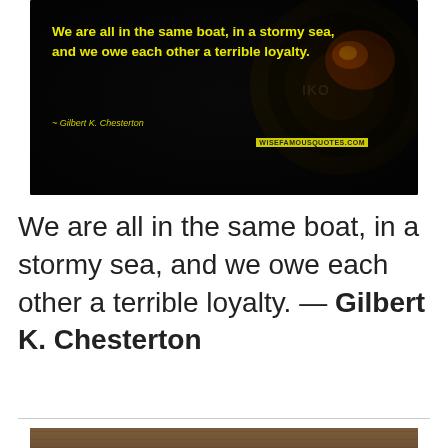[Figure (illustration): Dark background with camera lens bokeh effect. Yellow bold text quote: 'We are all in the same boat, in a stormy sea, and we owe each other a terrible loyalty.' Attribution: '~ Gilbert K. Chesterton'. Watermark: 'WISEFAMOUSQUOTES.COM']
We are all in the same boat, in a stormy sea, and we owe each other a terrible loyalty. — Gilbert K. Chesterton
[Figure (photo): Wood texture background with partial italic white text at bottom, partially visible]